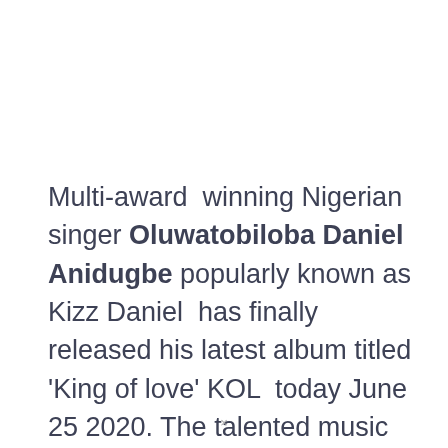Multi-award winning Nigerian singer Oluwatobiloba Daniel Anidugbe popularly known as Kizz Daniel has finally released his latest album titled 'King of love' KOL today June 25 2020. The talented music star made it known today on his Instagram 'KOL out now'. The...